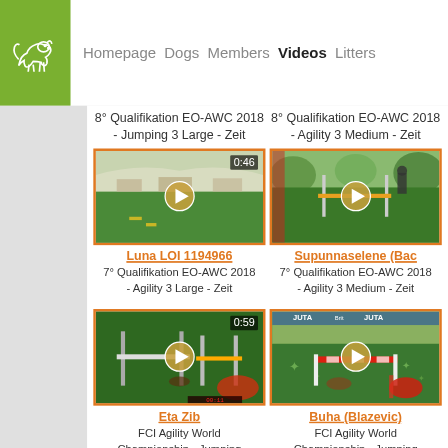Homepage   Dogs   Members   Videos   Litters
8° Qualifikation EO-AWC 2018 - Jumping 3 Large - Zeit
8° Qualifikation EO-AWC 2018 - Agility 3 Medium - Zeit
[Figure (screenshot): Video thumbnail of agility course indoor venue, duration 0:46]
Luna LOI 1194966
7° Qualifikation EO-AWC 2018 - Agility 3 Large - Zeit
[Figure (screenshot): Video thumbnail of dog agility outdoor event, partially visible]
Supunnaselene (Bac...
7° Qualifikation EO-AWC 2018 - Agility 3 Medium - Zeit
[Figure (screenshot): Video thumbnail of agility jumping course, duration 0:59]
Eta Zib
FCI Agility World Championship - Jumping Individual Medium - Zeit
[Figure (screenshot): Video thumbnail of FCI Agility World Championship event]
Buha (Blazevic)
FCI Agility World Championship - Jumping Individual Large - Zeit